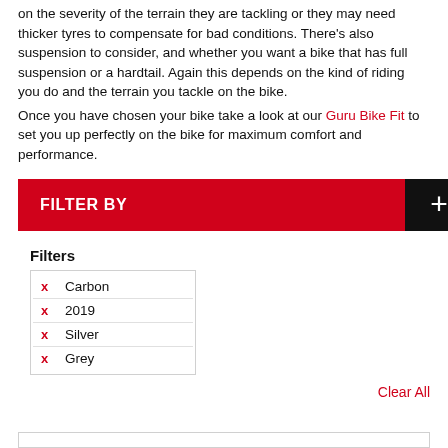on the severity of the terrain they are tackling or they may need thicker tyres to compensate for bad conditions. There's also suspension to consider, and whether you want a bike that has full suspension or a hardtail. Again this depends on the kind of riding you do and the terrain you tackle on the bike.
Once you have chosen your bike take a look at our Guru Bike Fit to set you up perfectly on the bike for maximum comfort and performance.
[Figure (other): Red 'FILTER BY' button with black '+' button on the right]
Filters
x  Carbon
x  2019
x  Silver
x  Grey
Clear All